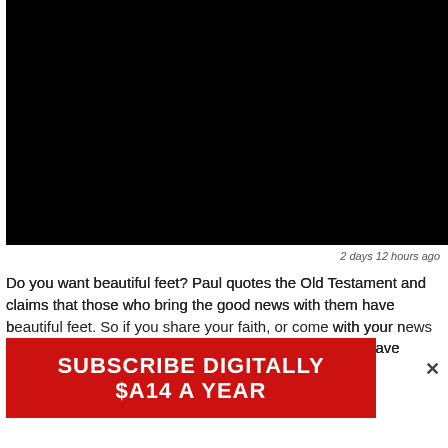[Figure (photo): Black video/image embed area]
2 days 12 hours ago
Do you want beautiful feet? Paul quotes the Old Testament and claims that those who bring the good news with them have beautiful feet. So if you share your faith, or come with your news and get involved in community projects, you too can have beautiful feet. signsofthetimes.o…
[Figure (infographic): Red subscribe banner overlay with text SUBSCRIBE DIGITALLY and $A14 A YEAR]